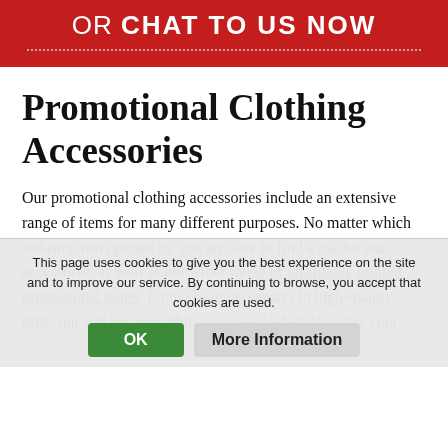OR CHAT TO US NOW
Promotional Clothing Accessories
Our promotional clothing accessories include an extensive range of items for many different purposes. No matter which industry you operate in, you are sure to find a use for our accessories as well as our wider range of affordable printed promotional items. From cheap giveaways to high-quality gifts, our site has everything you need when planning your
This page uses cookies to give you the best experience on the site and to improve our service. By continuing to browse, you accept that cookies are used.